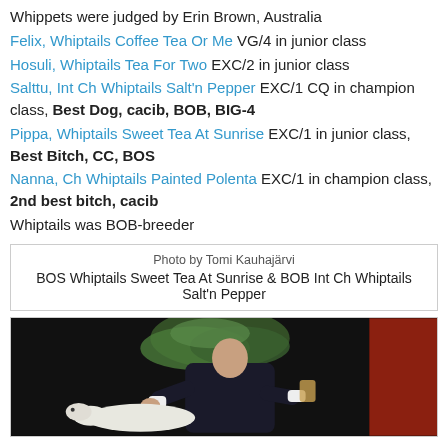Whippets were judged by Erin Brown, Australia
Felix, Whiptails Coffee Tea Or Me VG/4 in junior class
Hosuli, Whiptails Tea For Two EXC/2 in junior class
Salttu, Int Ch Whiptails Salt'n Pepper EXC/1 CQ in champion class, Best Dog, cacib, BOB, BIG-4
Pippa, Whiptails Sweet Tea At Sunrise EXC/1 in junior class, Best Bitch, CC, BOS
Nanna, Ch Whiptails Painted Polenta EXC/1 in champion class, 2nd best bitch, cacib
Whiptails was BOB-breeder
[Figure (other): Box with photo caption: Photo by Tomi Kauhajärvi. BOS Whiptails Sweet Tea At Sunrise & BOB Int Ch Whiptails Salt'n Pepper]
[Figure (photo): Photo of a man in a dark suit examining a white whippet dog, with decorative foliage and a red background panel.]